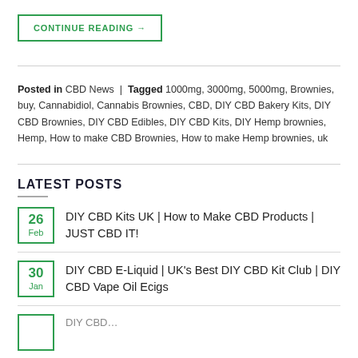CONTINUE READING →
Posted in CBD News | Tagged 1000mg, 3000mg, 5000mg, Brownies, buy, Cannabidiol, Cannabis Brownies, CBD, DIY CBD Bakery Kits, DIY CBD Brownies, DIY CBD Edibles, DIY CBD Kits, DIY Hemp brownies, Hemp, How to make CBD Brownies, How to make Hemp brownies, uk
LATEST POSTS
26 Feb — DIY CBD Kits UK | How to Make CBD Products | JUST CBD IT!
30 Jan — DIY CBD E-Liquid | UK's Best DIY CBD Kit Club | DIY CBD Vape Oil Ecigs
(partial) DIY CBD ...